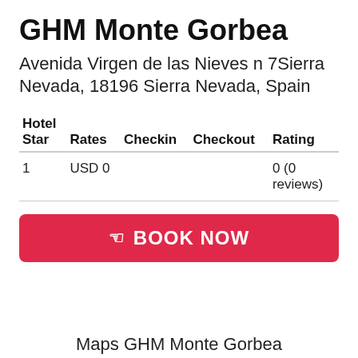GHM Monte Gorbea
Avenida Virgen de las Nieves n 7Sierra Nevada, 18196 Sierra Nevada, Spain
| Hotel Star | Rates | Checkin | Checkout | Rating |
| --- | --- | --- | --- | --- |
| 1 | USD 0 |  |  | 0 (0 reviews) |
BOOK NOW
Maps GHM Monte Gorbea